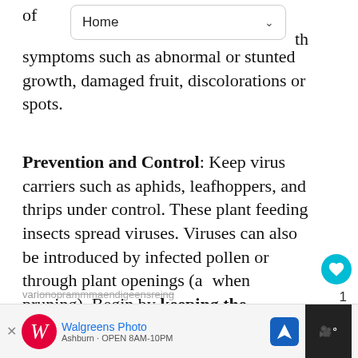[Figure (screenshot): Web browser navigation bar showing 'Home' dropdown with down arrow]
of ... th symptoms such as abnormal or stunted growth, damaged fruit, discolorations or spots.
Prevention and Control: Keep virus carriers such as aphids, leafhoppers, and thrips under control. These plant feeding insects spread viruses. Viruses can also be introduced by infected pollen or through plant openings (a... when pruning). Begin by keeping the pathogen out of your garden. New plants should be checked, as well as tools and existing plants. Use only certified se... deemed disease-free. Plant only resistant vari...
[Figure (screenshot): Social media sidebar with heart/favorite button showing cyan circle with heart icon, count of 1, and share button]
[Figure (photo): What's Next panel showing a red and yellow Japanese pumpkin thumbnail with label '1999 Japanese pumpkin']
[Figure (screenshot): Walgreens Photo advertisement banner at the bottom with logo, navigation icon, and dark panel]